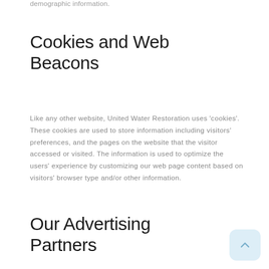demographic information.
Cookies and Web Beacons
Like any other website, United Water Restoration uses 'cookies'. These cookies are used to store information including visitors' preferences, and the pages on the website that the visitor accessed or visited. The information is used to optimize the users' experience by customizing our web page content based on visitors' browser type and/or other information.
Our Advertising Partners